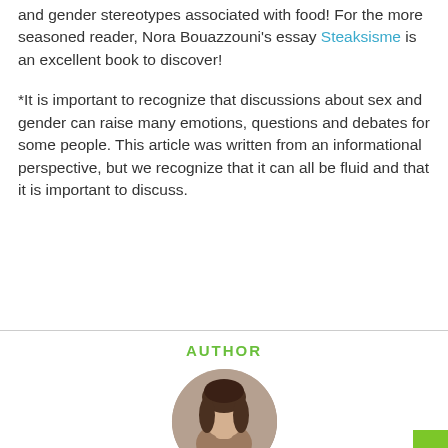and gender stereotypes associated with food! For the more seasoned reader, Nora Bouazzouni's essay Steaksisme is an excellent book to discover!
*It is important to recognize that discussions about sex and gender can raise many emotions, questions and debates for some people. This article was written from an informational perspective, but we recognize that it can all be fluid and that it is important to discuss.
AUTHOR
[Figure (photo): Circular author photo showing a young woman with dark hair, partially overlapped by a green 'Book your appointment' button in the bottom right corner.]